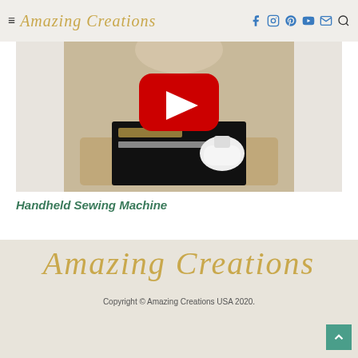Amazing Creations
[Figure (screenshot): Video thumbnail showing a person in a beige shirt holding a handheld sewing machine product box with a YouTube play button overlay]
Handheld Sewing Machine
Amazing Creations
Copyright © Amazing Creations USA 2020.